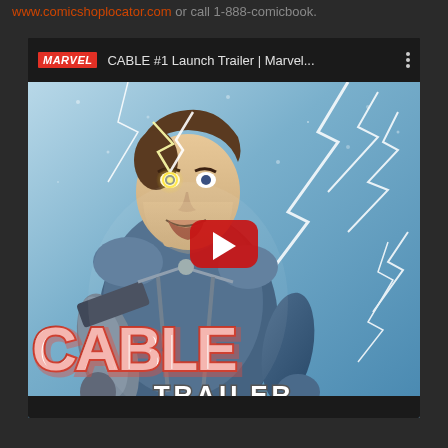www.comicshoplocator.com or call 1-888-comicbook.
[Figure (screenshot): YouTube video embed showing the CABLE #1 Launch Trailer by Marvel. The thumbnail shows animated comic art of Cable (Marvel character) with lightning effects, the CABLE logo in orange/red at bottom left, and TRAILER text at bottom center. A red YouTube play button is centered on the image. Copyright 2020 shown at bottom right. The video title bar reads 'CABLE #1 Launch Trailer | Marvel...' with the Marvel logo.]